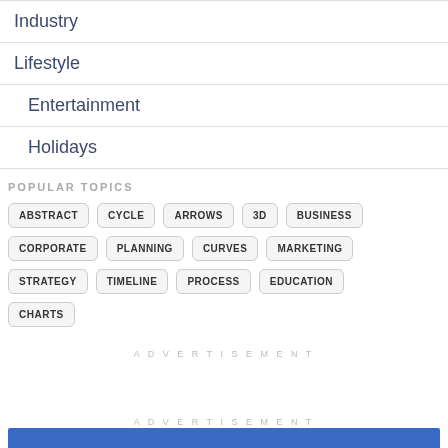Industry
Lifestyle
Entertainment
Holidays
POPULAR TOPICS
ABSTRACT
CYCLE
ARROWS
3D
BUSINESS
CORPORATE
PLANNING
CURVES
MARKETING
STRATEGY
TIMELINE
PROCESS
EDUCATION
CHARTS
ADVERTISEMENT
ADVERTISEMENT